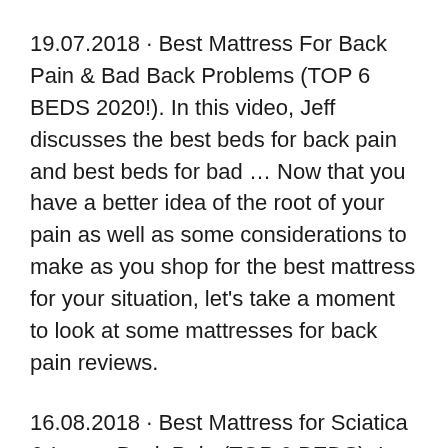19.07.2018 · Best Mattress For Back Pain & Bad Back Problems (TOP 6 BEDS 2020!). In this video, Jeff discusses the best beds for back pain and best beds for bad … Now that you have a better idea of the root of your pain as well as some considerations to make as you shop for the best mattress for your situation, let's take a moment to look at some mattresses for back pain reviews.
16.08.2018 · Best Mattress for Sciatica & Lower Back Pain (TOP 6 BEDS). In this video, Jeff covers the Best Beds for Sciatica and Best Beds for Lower Back Pain. He discusses his six favorite bed in a box Overall, if you're looking for the best mattress for bad backs, the Purple Mattress is a